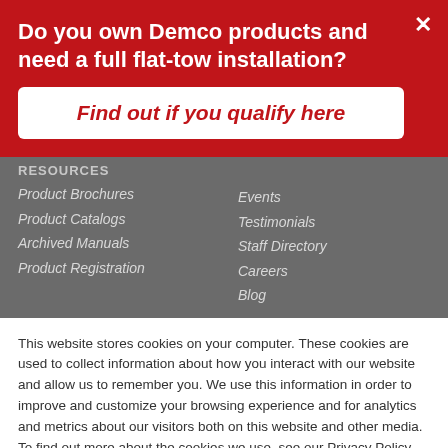Do you own Demco products and need a full flat-tow installation?
Find out if you qualify here
RESOURCES
Product Brochures
Product Catalogs
Archived Manuals
Product Registration
Events
Testimonials
Staff Directory
Careers
Blog
This website stores cookies on your computer. These cookies are used to collect information about how you interact with our website and allow us to remember you. We use this information in order to improve and customize your browsing experience and for analytics and metrics about our visitors both on this website and other media. To find out more about the cookies we use, see our Privacy Policy.
Accept